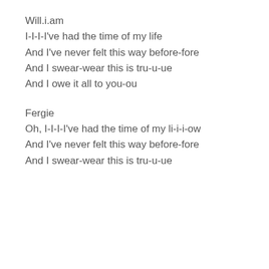Will.i.am
I-I-I-I've had the time of my life
And I've never felt this way before-fore
And I swear-wear this is tru-u-ue
And I owe it all to you-ou
Fergie
Oh, I-I-I-I've had the time of my li-i-i-ow
And I've never felt this way before-fore
And I swear-wear this is tru-u-ue